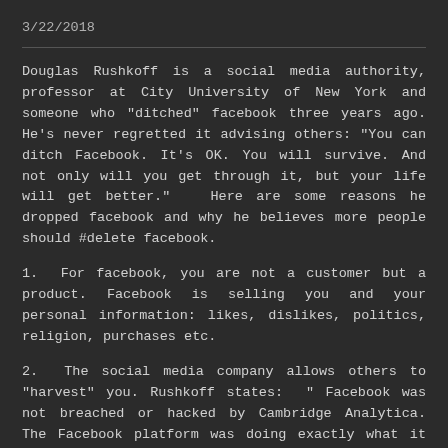3/22/2018
Douglas Rushkoff is a social media authority, professor at City University of New York and someone who "ditched" facebook three years ago. He's never regretted it advising others: "You can ditch Facebook. It's OK. You will survive. And not only will you get through it, but your life will get better."  Here are some reasons he dropped facebook and why he believes more people should #delete facebook.
1.  For facebook, you are not a customer but a product. Facebook is selling you and your personal information: likes, dislikes, politics, religion, purchases etc.
2.  The social media company allows others to "harvest" you. Rushkoff states:  " Facebook was not breached or hacked by Cambridge Analytica. The Facebook platform was doing exactly what it is programmed to do: Harvest our data, identify our psychological triggers and then manipulate our behavior."